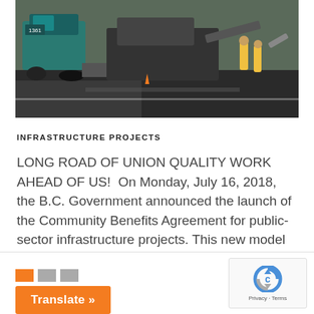[Figure (photo): Construction paving machine on a road with workers in high-visibility vests in the background]
INFRASTRUCTURE PROJECTS
LONG ROAD OF UNION QUALITY WORK AHEAD OF US!  On Monday, July 16, 2018, the B.C. Government announced the launch of the Community Benefits Agreement for public-sector infrastructure projects. This new model will prove to ensure the interests of workers are protected across the...
[Figure (other): Translate button widget with flag icons and orange Translate button]